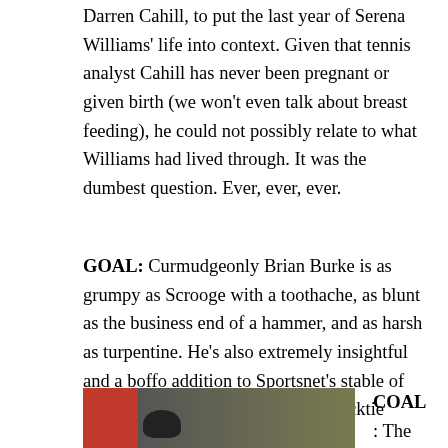Darren Cahill, to put the last year of Serena Williams' life into context. Given that tennis analyst Cahill has never been pregnant or given birth (we won't even talk about breast feeding), he could not possibly relate to what Williams had lived through. It was the dumbest question. Ever, ever, ever.
GOAL: Curmudgeonly Brian Burke is as grumpy as Scrooge with a toothache, as blunt as the business end of a hammer, and as harsh as turpentine. He's also extremely insightful and a boffo addition to Sportsnet's stable of gum-flappers. He even wears his necktie properly some nights.
[Figure (photo): Sports photo showing a player in red uniform with dark helmet, against a blurred green/olive background]
COAL: The